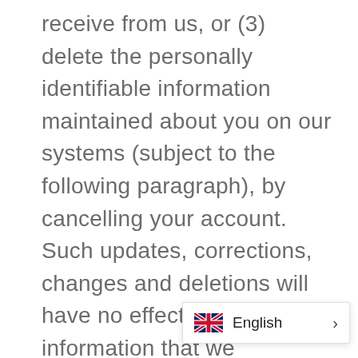receive from us, or (3) delete the personally identifiable information maintained about you on our systems (subject to the following paragraph), by cancelling your account. Such updates, corrections, changes and deletions will have no effect on other information that we maintain, or information that we have provided to third parties in accordance with this Privacy Policy prior to such update, correction, change or deletion. To protect your privacy and security, we may take reasonable steps (such as requesting a unique password) to verify your identity before granting you profile access or making corrections. You are responsible for maintaining the secrecy of y password and account info
[Figure (other): Language selector widget showing UK flag and 'English' label with a right arrow]